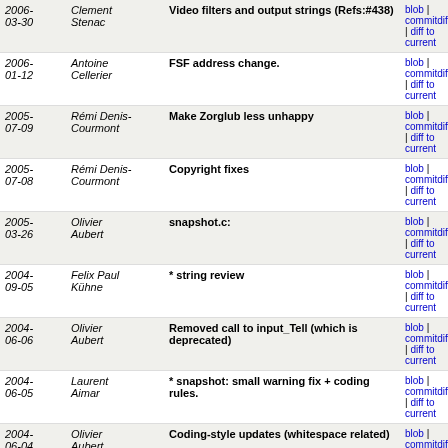| Date | Author | Description | Links |
| --- | --- | --- | --- |
| 2006-03-30 | Clement Stenac | Video filters and output strings (Refs:#438) | blob | commitdiff | diff to current |
| 2006-01-12 | Antoine Cellerier | FSF address change. | blob | commitdiff | diff to current |
| 2005-07-09 | Rémi Denis-Courmont | Make Zorglub less unhappy | blob | commitdiff | diff to current |
| 2005-07-08 | Rémi Denis-Courmont | Copyright fixes | blob | commitdiff | diff to current |
| 2005-03-26 | Olivier Aubert | snapshot.c: | blob | commitdiff | diff to current |
| 2004-09-05 | Felix Paul Kühne | * string review | blob | commitdiff | diff to current |
| 2004-06-06 | Olivier Aubert | Removed call to input_Tell (which is deprecated) | blob | commitdiff | diff to current |
| 2004-06-05 | Laurent Aimar | * snapshot: small warning fix + coding rules. | blob | commitdiff | diff to current |
| 2004-06-04 | Olivier Aubert | Coding-style updates (whitespace related) | blob | commitdiff | diff to current |
| 2004-05-27 | Olivier Aubert | Snapshot module (dummy video output module keeping... | blob | commitdiff | diff to current |